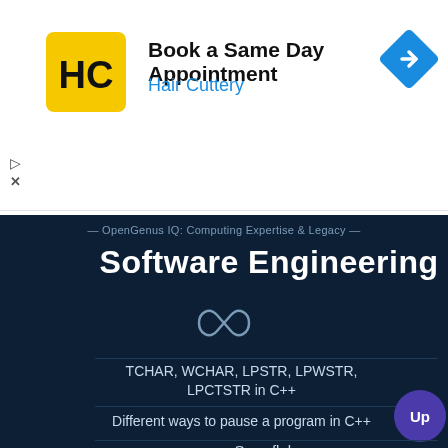[Figure (screenshot): Hair Cuttery advertisement banner: yellow logo with HC letters, heading 'Book a Same Day Appointment', subheading 'Hair Cuttery' in blue, blue diamond arrow icon on the right]
— OpenGenus IQ: Computing Expertise & Legacy —
Software Engineering
[Figure (illustration): Infinity symbol outline in dark navy on dark background]
TCHAR, WCHAR, LPSTR, LPWSTR, LPCTSTR in C++
Different ways to pause a program in C++
Snowflake